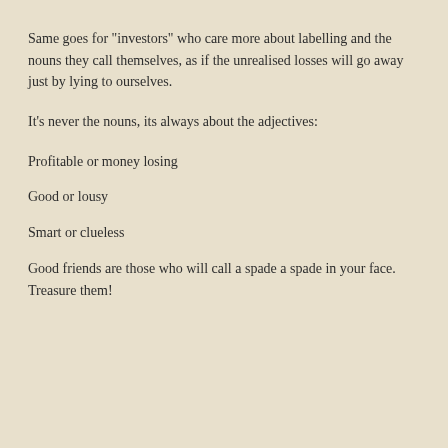Same goes for "investors" who care more about labelling and the nouns they call themselves, as if the unrealised losses will go away just by lying to ourselves.
It's never the nouns, its always about the adjectives:
Profitable or money losing
Good or lousy
Smart or clueless
Good friends are those who will call a spade a spade in your face. Treasure them!